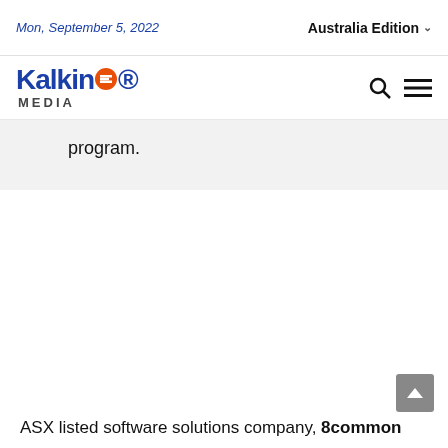Mon, September 5, 2022 | Australia Edition
[Figure (logo): Kalkine Media logo with stylized E icon in orange/blue and MEDIA text below]
program.
ASX listed software solutions company, 8common